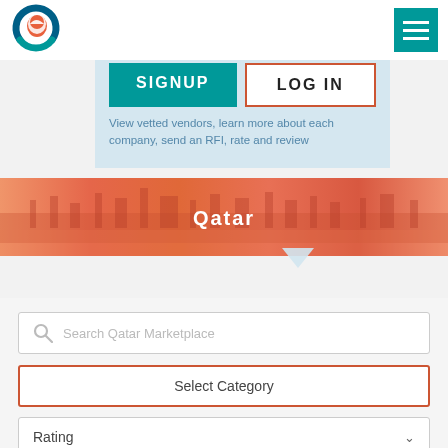[Figure (logo): Circular logo with blue and orange colors]
[Figure (screenshot): Marketplace signup/login panel with teal SIGNUP button and orange-bordered LOG IN button]
Marketplace
SIGNUP
LOG IN
View vetted vendors, learn more about each company, send an RFI, rate and review
[Figure (photo): Qatar city skyline banner with orange tint overlay and Qatar text]
Qatar
Search Qatar Marketplace
Select Category
Rating
Service Level